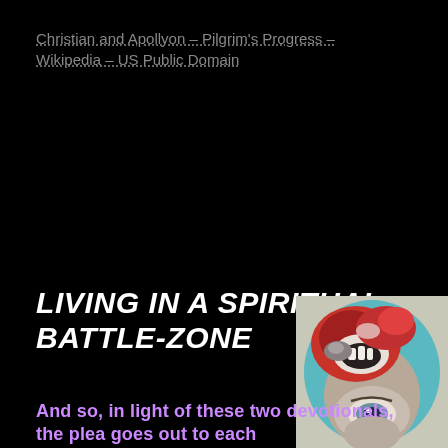Christian and Apollyon – Pilgrim's Progress – Wikipedia – US Public Domain
LIVING IN A SPIRITUAL BATTLE-ZONE
[Figure (illustration): A painted or drawn illustration of a face with red and dramatic coloring, appearing to depict a fantastical or demonic creature with an open mouth and intense expression, rendered in colored pencil or paint style.]
And so, in light of these two devotionals, the plea goes out to each